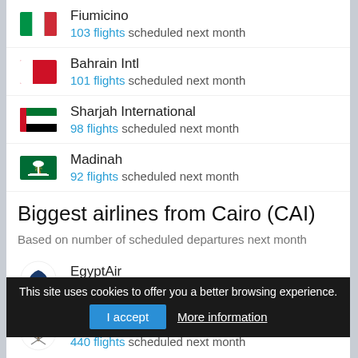Fiumicino — 103 flights scheduled next month
Bahrain Intl — 101 flights scheduled next month
Sharjah International — 98 flights scheduled next month
Madinah — 92 flights scheduled next month
Biggest airlines from Cairo (CAI)
Based on number of scheduled departures next month
EgyptAir — 3035 flights scheduled next month
Saudia — 440 flights scheduled next month
This site uses cookies to offer you a better browsing experience. I accept  More information
Flynas